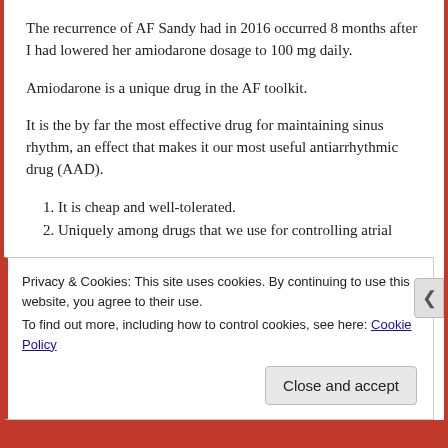The recurrence of AF Sandy had in 2016 occurred 8 months after I had lowered her amiodarone dosage to 100 mg daily.
Amiodarone is a unique drug in the AF toolkit.
It is the by far the most effective drug for maintaining sinus rhythm, an effect that makes it our most useful antiarrhythmic drug (AAD).
It is cheap and well-tolerated.
Uniquely among drugs that we use for controlling atrial
Privacy & Cookies: This site uses cookies. By continuing to use this website, you agree to their use.
To find out more, including how to control cookies, see here: Cookie Policy
Close and accept